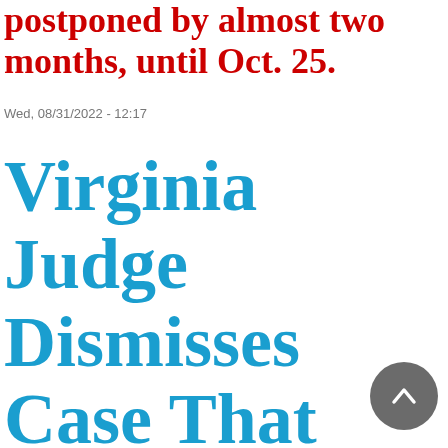postponed by almost two months, until Oct. 25.
Wed, 08/31/2022 - 12:17
Virginia Judge Dismisses Case That Sought to Limit Book